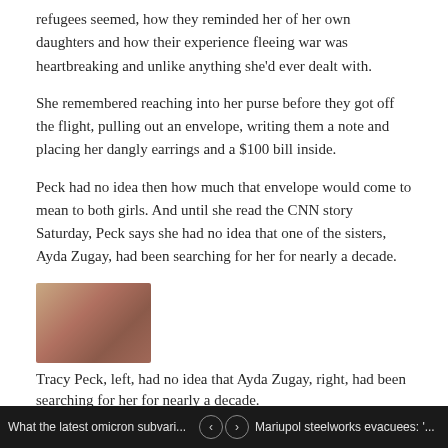refugees seemed, how they reminded her of her own daughters and how their experience fleeing war was heartbreaking and unlike anything she'd ever dealt with.
She remembered reaching into her purse before they got off the flight, pulling out an envelope, writing them a note and placing her dangly earrings and a $100 bill inside.
Peck had no idea then how much that envelope would come to mean to both girls. And until she read the CNN story Saturday, Peck says she had no idea that one of the sisters, Ayda Zugay, had been searching for her for nearly a decade.
[Figure (photo): Blurred/redacted photo of two people, Tracy Peck and Ayda Zugay]
Tracy Peck, left, had no idea that Ayda Zugay, right, had been searching for her for nearly a decade.
Courtesy Tracy Peck and Ayda Zugay
Tears streamed down the 70-year-old massage therapist's face as she read the sisters' descriptions of how the gift had changed their lives. For years Peck, who lives in suburban Minneapolis, says she'd
What the latest omicron subvari... | Mariupol steelworks evacuees: '...